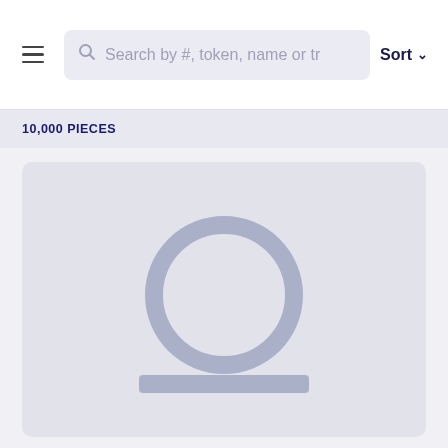Search by #, token, name or tr   Sort
10,000 PIECES
[Figure (illustration): A loading placeholder card with a light grey background, featuring a large light blue-grey circle outline (person head placeholder) and a horizontal light blue-grey rectangle bar below it (person name placeholder), representing an NFT or profile image loading state.]